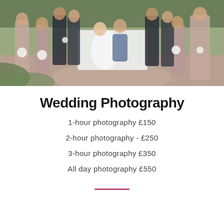[Figure (photo): Wedding party group photo outdoors. Bride in white dress, groom in blue suit sitting on a white bench swing. Bridesmaids in mauve/dusty pink dresses holding white bouquets, groomsmen in dark suits. Brick patio, greenery in background.]
Wedding Photography
1-hour photography £150
2-hour photography - £250
3-hour photography £350
All day photography £550